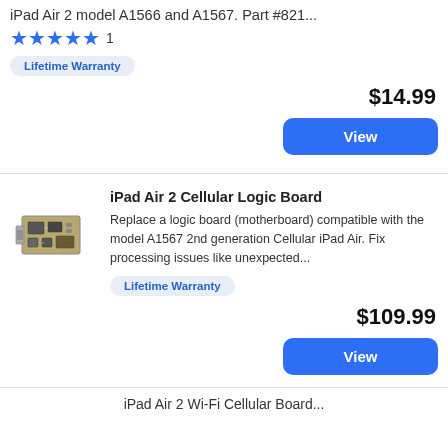iPad Air 2 model A1566 and A1567. Part #821...
★★★★★ 1
Lifetime Warranty
$14.99
View
iPad Air 2 Cellular Logic Board
Replace a logic board (motherboard) compatible with the model A1567 2nd generation Cellular iPad Air. Fix processing issues like unexpected...
Lifetime Warranty
$109.99
View
iPad Air 2 Wi-Fi Cellular Board...